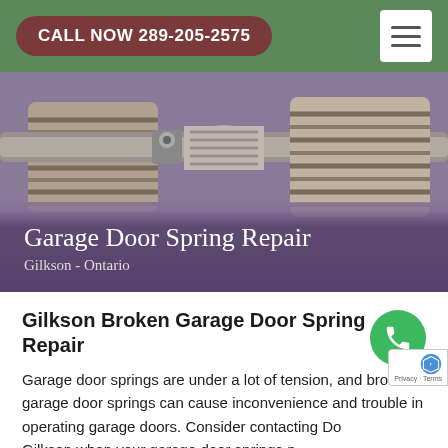CALL NOW 289-205-2575
[Figure (photo): Close-up photo of garage door torsion springs on a metal rod, showing coiled metal springs in detail. A purple/mauve background is visible. Text overlay reads 'Garage Door Spring Repair' and 'Gilkson - Ontario'.]
Garage Door Spring Repair
Gilkson - Ontario
Gilkson Broken Garage Door Spring Repair
Garage door springs are under a lot of tension, and broken garage door springs can cause inconvenience and trouble in operating garage doors. Consider contacting Do Gilkson when your garage door springs need repair. If a Spring is Broken, it will no longer